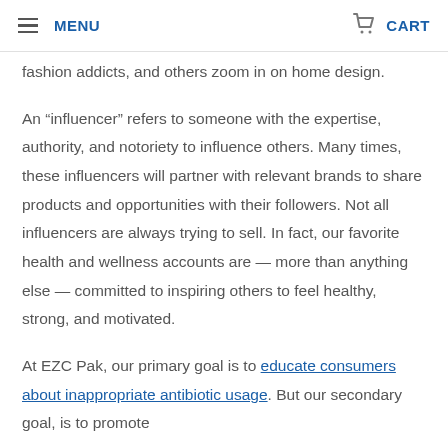MENU   CART
fashion addicts, and others zoom in on home design.
An “influencer” refers to someone with the expertise, authority, and notoriety to influence others. Many times, these influencers will partner with relevant brands to share products and opportunities with their followers. Not all influencers are always trying to sell. In fact, our favorite health and wellness accounts are — more than anything else — committed to inspiring others to feel healthy, strong, and motivated.
At EZC Pak, our primary goal is to educate consumers about inappropriate antibiotic usage. But our secondary goal, is to promote